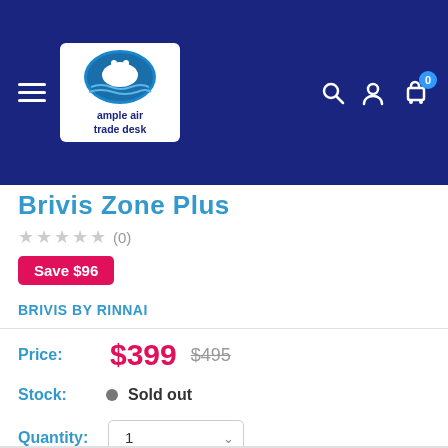[Figure (logo): Ample Air Trade Desk logo with polar bear on blue circle, white background box with text 'ample air trade desk']
Brivis Zone Plus
★★★★★ (0)
Save $96
BRIVIS BY RINNAI
Price: $399  $495
Stock: ● Sold out
Quantity: 1